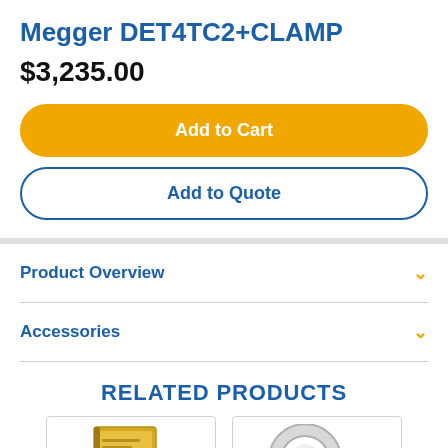Megger DET4TC2+CLAMP
$3,235.00
Add to Cart
Add to Quote
Product Overview
Accessories
RELATED PRODUCTS
[Figure (photo): Thumbnail of a book/manual product]
[Figure (photo): Thumbnail of a clamp/ring accessory product]